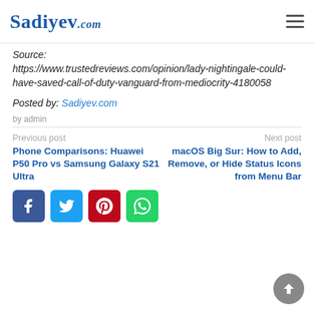Sadiyev.com
Source:
https://www.trustedreviews.com/opinion/lady-nightingale-could-have-saved-call-of-duty-vanguard-from-mediocrity-4180058
Posted by: Sadiyev.com
by admin
Previous post
Phone Comparisons: Huawei P50 Pro vs Samsung Galaxy S21 Ultra
Next post
macOS Big Sur: How to Add, Remove, or Hide Status Icons from Menu Bar